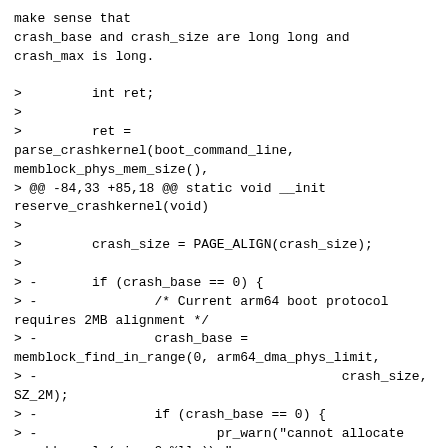make sense that
crash_base and crash_size are long long and
crash_max is long.
>         int ret;
>
>         ret =
parse_crashkernel(boot_command_line,
memblock_phys_mem_size(),
> @@ -84,33 +85,18 @@ static void __init
reserve_crashkernel(void)
>
>         crash_size = PAGE_ALIGN(crash_size);
>
> -       if (crash_base == 0) {
> -               /* Current arm64 boot protocol
requires 2MB alignment */
> -               crash_base =
memblock_find_in_range(0, arm64_dma_phys_limit,
> -                                       crash_size,
SZ_2M);
> -               if (crash_base == 0) {
> -                       pr_warn("cannot allocate
crashkernel (size:0x%llx)\n",
> -                                       crash_size);
> -                       return;
> -               }
> -       } else {
> -               /* User specifies base address
explicitly. */